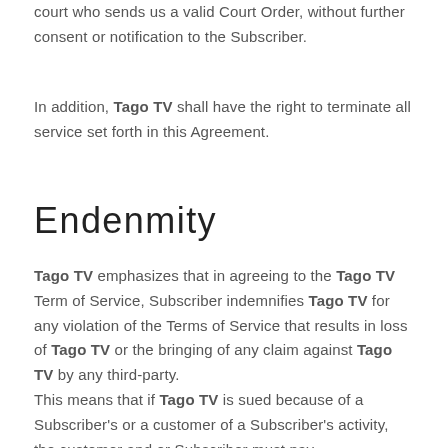court who sends us a valid Court Order, without further consent or notification to the Subscriber.
In addition, Tago TV shall have the right to terminate all service set forth in this Agreement.
Endenmity
Tago TV emphasizes that in agreeing to the Tago TV Term of Service, Subscriber indemnifies Tago TV for any violation of the Terms of Service that results in loss of Tago TV or the bringing of any claim against Tago TV by any third-party.
This means that if Tago TV is sued because of a Subscriber's or a customer of a Subscriber's activity, the customer and or Subscriber must pay